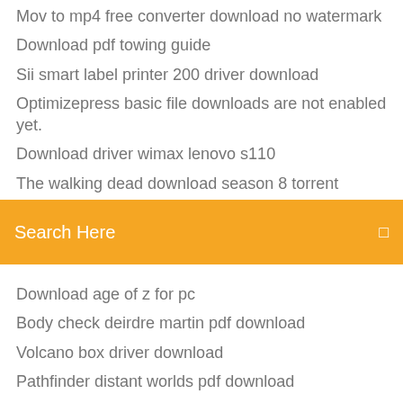Mov to mp4 free converter download no watermark
Download pdf towing guide
Sii smart label printer 200 driver download
Optimizepress basic file downloads are not enabled yet.
Download driver wimax lenovo s110
The walking dead download season 8 torrent
Facebook exe download for pc
Search Here
Download age of z for pc
Body check deirdre martin pdf download
Volcano box driver download
Pathfinder distant worlds pdf download
Irctc windows 10 app free download
Ffxiv boot error unable to download patch files
Download asc file reader
Free youtube download converter software
Space balls movie download iffy torrent
Cannot download lost games in my ps4